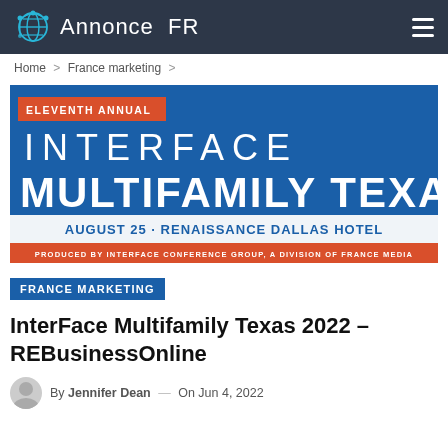Annonce FR
Home > France marketing >
[Figure (illustration): Event banner for Eleventh Annual Interface Multifamily Texas, August 25, Renaissance Dallas Hotel. Produced by Interface Conference Group, a Division of France Media. Blue background with orange accent bar for 'ELEVENTH ANNUAL' label, large white text for 'INTERFACE MULTIFAMILY TEXAS', white text on blue for 'AUGUST 25 · RENAISSANCE DALLAS HOTEL', orange bar for produced-by line.]
FRANCE MARKETING
InterFace Multifamily Texas 2022 – REBusinessOnline
By Jennifer Dean — On Jun 4, 2022